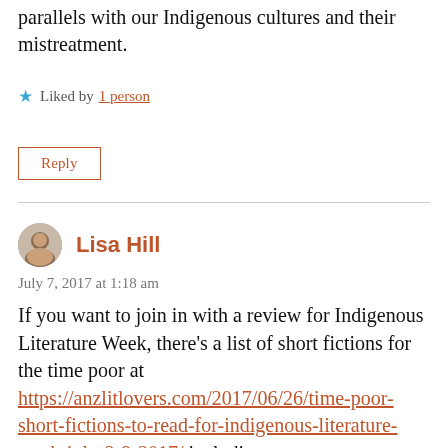parallels with our Indigenous cultures and their mistreatment.
★ Liked by 1 person
Reply
Lisa Hill
July 7, 2017 at 1:18 am
If you want to join in with a review for Indigenous Literature Week, there's a list of short fictions for the time poor at https://anzlitlovers.com/2017/06/26/time-poor-short-fictions-to-read-for-indigenous-literature-week-july-2-9-2017/ including a